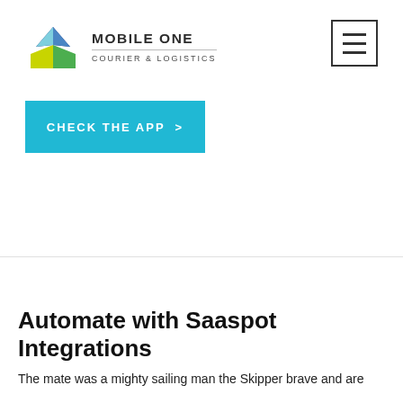[Figure (logo): Mobile One Courier & Logistics logo with geometric box icon in blue, green, and yellow, and text MOBILE ONE COURIER & LOGISTICS]
[Figure (other): Hamburger menu icon — three horizontal lines inside a square border]
CHECK THE APP >
Automate with Saaspot Integrations
The mate was a mighty sailing man the Skipper brave and are